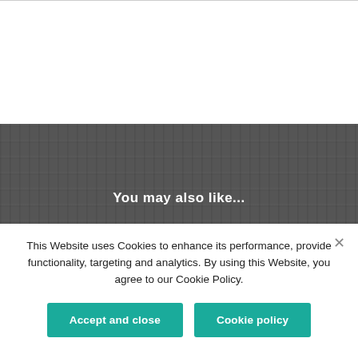You may also like...
This Website uses Cookies to enhance its performance, provide functionality, targeting and analytics. By using this Website, you agree to our Cookie Policy.